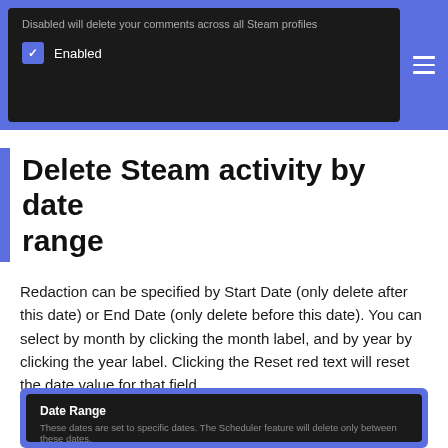[Figure (screenshot): Dark-themed UI panel showing 'Disabled will delete your comments across all Steam profiles' text with a blue checkbox labeled 'Enabled' and a hamburger menu button on the right, inside a blue-bordered container.]
Delete Steam activity by date range
Redaction can be specified by Start Date (only delete after this date) or End Date (only delete before this date). You can select by month by clicking the month label, and by year by clicking the year label. Clicking the Reset red text will reset the date value for that field.
[Figure (screenshot): Dark-themed UI panel showing 'Date Range' section with subtitle 'These dates are set to specific dates. The Scheduler feature will delete only between these dates.' and buttons: Today, Week, Month, Year, All time.]